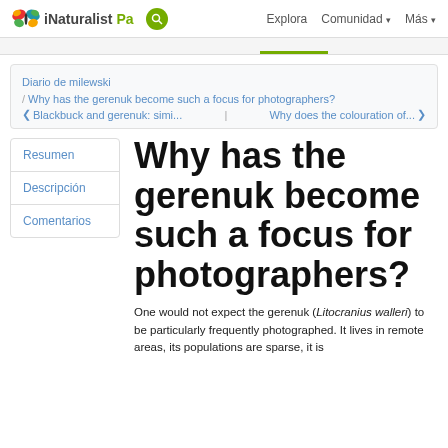iNaturalistPa  Explora  Comunidad  Más
Diario de milewski
Why has the gerenuk become such a focus for photographers?
Blackbuck and gerenuk: simi... | Why does the colouration of...
Resumen
Descripción
Comentarios
Why has the gerenuk become such a focus for photographers?
One would not expect the gerenuk (Litocranius walleri) to be particularly frequently photographed. It lives in remote areas, its populations are sparse, it is